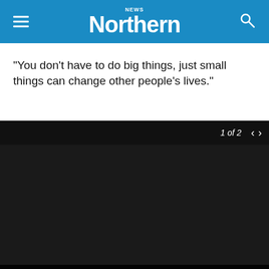Northern News
“You don’t have to do big things, just small things can change other people’s lives.”
[Figure (photo): Dark/blacked-out photo with navigation showing '1 of 2' and forward/back arrows, with an image gallery overlay.]
Zikhona Mene and her daughter, Buhlebenkosi, at the wheelchair handover at Tygerberg Association for Persons with Physical Disabilities in Goodwood. From left are Paul Roos Gymnasium pupil David Janse van Rensburg, Polystyrene Association of SA director Adri Spangenberg, Tygerberg Association for Persons with Physical Disabilities staff member Celista Gerber and Western Province rugby team fly-half